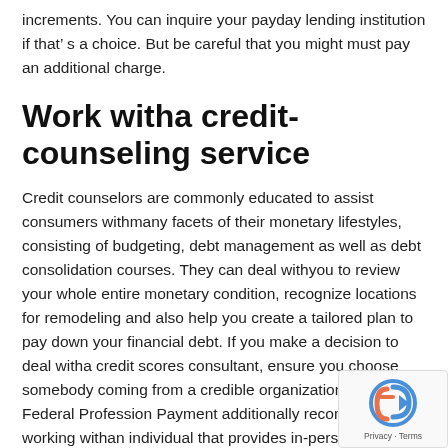increments. You can inquire your payday lending institution if that’ s a choice. But be careful that you might must pay an additional charge.
Work witha credit-counseling service
Credit counselors are commonly educated to assist consumers withmany facets of their monetary lifestyles, consisting of budgeting, debt management as well as debt consolidation courses. They can deal withyou to review your whole entire monetary condition, recognize locations for remodeling and also help you create a tailored plan to pay down your financial debt. If you make a decision to deal witha credit scores consultant, ensure you choose somebody coming from a credible organization. The Federal Profession Payment additionally recommends working withan individual that provides in-person counseling, whenever feasible.
Speak witha legal help